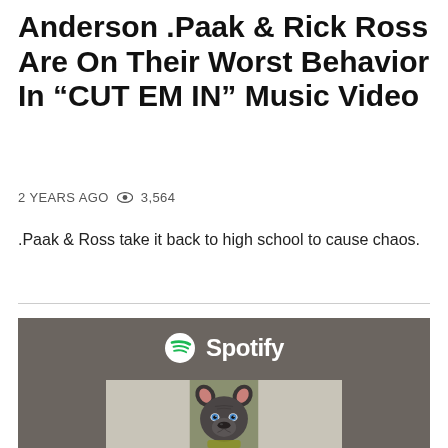Anderson .Paak & Rick Ross Are On Their Worst Behavior In “CUT EM IN” Music Video
2 YEARS AGO  👁  3,564
.Paak & Ross take it back to high school to cause chaos.
[Figure (screenshot): Spotify embedded player showing a blue-eyed gray pit bull puppy on album art, displayed against a dark taupe/gray background with the Spotify logo at top center.]